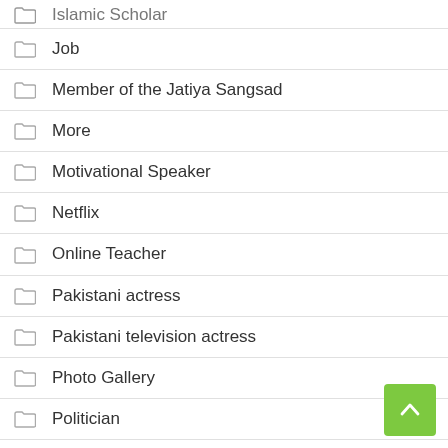Islamic Scholar
Job
Member of the Jatiya Sangsad
More
Motivational Speaker
Netflix
Online Teacher
Pakistani actress
Pakistani television actress
Photo Gallery
Politician
Real Estate
Russian actress
Sundar Pichai bio
Tamil Nadu Actor